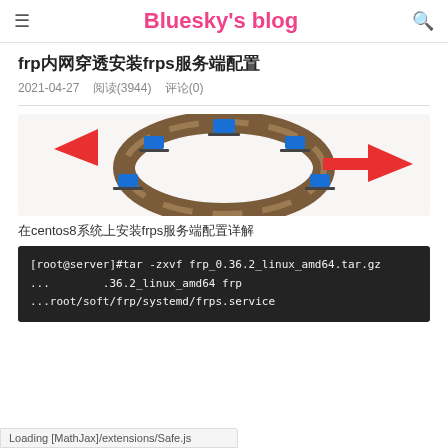☰  Bluesky's blog  🔍
frp内网穿透安装frps服务端配置
2021-04-27    阅读(3944)    评论(0)
[Figure (illustration): Network diagram showing laptops arranged in a circle with brick wall ring and red arrows, illustrating frp reverse proxy / intranet penetration concept]
在centos8系统上安装frps服务端配置详解
[root@server]#tar -zxvf frp_0.36.2_linux_amd64.tar.gz
...36.2_linux_amd64 frp
...root/soft/frp/systemd/frps.service